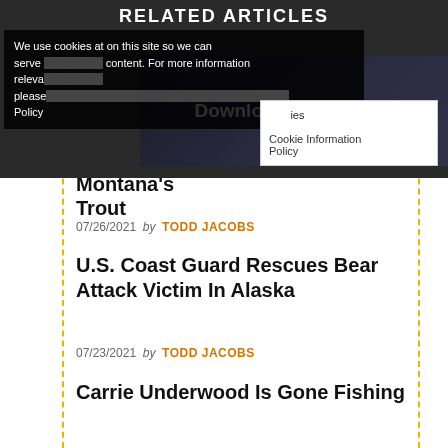RELATED ARTICLES
We use cookies at on this site so we can serve relevant content. For more information, please visit our Privacy and Cookie Information Policy
[Figure (screenshot): Ad overlay showing 'Download Helbiz and ride' text over dark background with scooter/bike image]
Cookie Information Policy
Climate Change Endangering Montana's Trout
07/26/2021  by  TODD JACOBS
U.S. Coast Guard Rescues Bear Attack Victim In Alaska
07/23/2021  by  TODD JACOBS
Carrie Underwood Is Gone Fishing
07/15/2021  by  TODD JACOBS